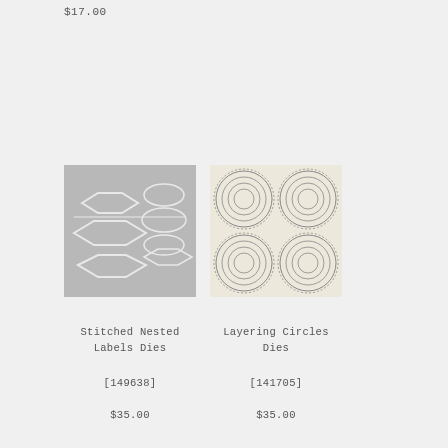$17.00
[Figure (photo): Gray background with white die-cut shapes: hexagons and label-shaped ovals arranged in a grid — Stitched Nested Labels Dies product image]
Stitched Nested Labels Dies
[149638]
$35.00
[Figure (photo): Cream/beige background with four groups of concentric circle die cuts arranged in a 2x2 grid — Layering Circles Dies product image]
Layering Circles Dies
[141705]
$35.00